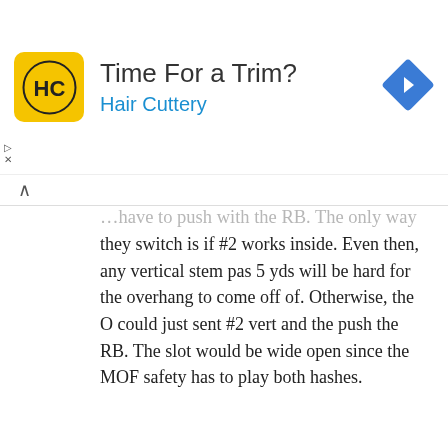[Figure (logo): Hair Cuttery advertisement banner with yellow HC logo, text 'Time For a Trim?' and 'Hair Cuttery', and blue diamond arrow icon]
...have to push with the RB. The only way they switch is if #2 works inside. Even then, any vertical stem pas 5 yds will be hard for the overhang to come off of. Otherwise, the O could just sent #2 vert and the push the RB. The slot would be wide open since the MOF safety has to play both hashes.
Reply
Anonymous
April 19, 2019 at 2:45 pm